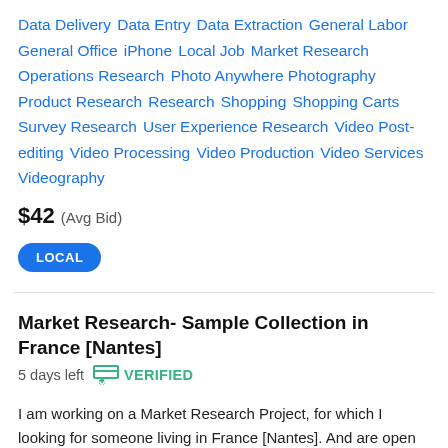Data Delivery  Data Entry  Data Extraction  General Labor  General Office  iPhone  Local Job  Market Research  Operations Research  Photo Anywhere Photography  Product Research  Research  Shopping  Shopping Carts  Survey Research  User Experience Research  Video Post-editing  Video Processing  Video Production  Video Services  Videography
$42  (Avg Bid)
LOCAL
Market Research- Sample Collection in France [Nantes]  5 days left  VERIFIED
I am working on a Market Research Project, for which I looking for someone living in France [Nantes]. And are open to recording a 2-3 minutes video of shopping in-store (videos can be recorded using their smartphones). One shopper can record only one video. I am willing to pay pe...
Administrative Support  Android  Customer Service